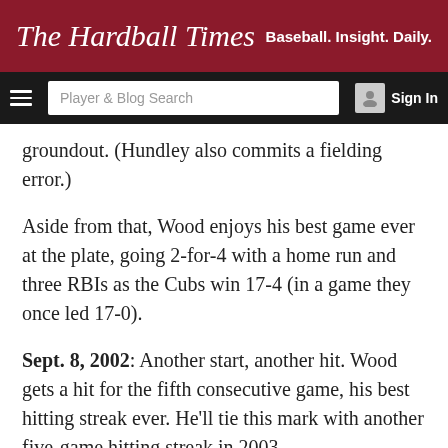The Hardball Times — Baseball. Insight. Daily.
groundout. (Hundley also commits a fielding error.)
Aside from that, Wood enjoys his best game ever at the plate, going 2-for-4 with a home run and three RBIs as the Cubs win 17-4 (in a game they once led 17-0).
Sept. 8, 2002: Another start, another hit. Wood gets a hit for the fifth consecutive game, his best hitting streak ever. He'll tie this mark with another five-game hitting streak in 2003.
March 31, 2003: For the first time in his career, Wood gets the honor of the Opening Day start. It goes as well as you can